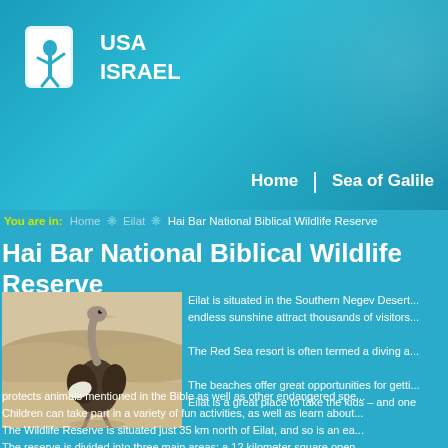[Figure (logo): Israel travel/tourism website logo with figure icon and text USA / ISRAEL]
Home | Sea of Galilee
You are in: Home ❋ Eilat ❋ Hai Bar National Biblical Wildlife Reserve
Hai Bar National Biblical Wildlife Reserve
[Figure (photo): Photo of an ostrich walking in a desert sandy landscape]
Eilat is situated in the Southern Negev Desert... endless sunshine attract thousands of visitors... The Red Sea resort is often termed a diving a...
The beaches offer great opportunities for getti... Eilat is a great place to take the kids – and one protects animals mentioned in the Bible as well as other endangered spe... Children can take part in a variety of fun activities, as well as learn about... The Wildlife Reserve is situated just 35 km north of Eilat, and so is an ea... The reserve is divided into three main areas: a 12 kilometer square open... houses predators, reptiles and small desert mammals, and a 'dark room'... Animals in the reserve include the wild Asiatic ass... some of which...